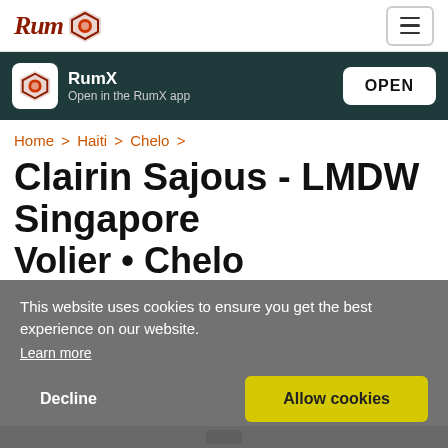RumX [logo] [hamburger menu]
[Figure (screenshot): App install banner: RumX logo icon, 'RumX' title, 'Open in the RumX app' subtitle, and OPEN button on dark teal background]
Home > Haiti > Chelo >
Clairin Sajous - LMDW Singapore
Volier • Chelo
This website uses cookies to ensure you get the best experience on our website.
Learn more
Decline
Allow cookies